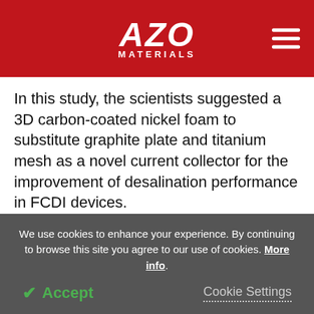[Figure (logo): AZO MATERIALS logo in white text on red background with hamburger menu icon]
In this study, the scientists suggested a 3D carbon-coated nickel foam to substitute graphite plate and titanium mesh as a novel current collector for the improvement of desalination performance in FCDI devices.
The 3D foam current collector serves as a charged conductor. The intrinsic 3D interconnected open-pore structure was utilized as a flow channel to
We use cookies to enhance your experience. By continuing to browse this site you agree to our use of cookies. More info.
✓ Accept
Cookie Settings